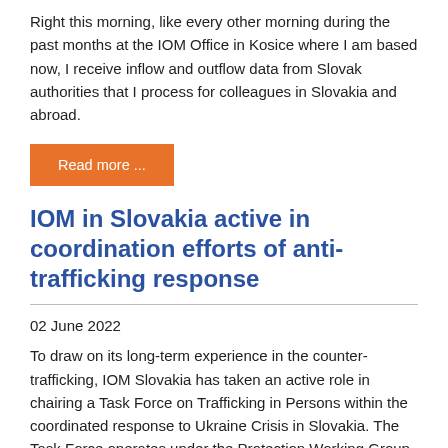Right this morning, like every other morning during the past months at the IOM Office in Kosice where I am based now, I receive inflow and outflow data from Slovak authorities that I process for colleagues in Slovakia and abroad.
Read more ...
IOM in Slovakia active in coordination efforts of anti-trafficking response
02 June 2022
To draw on its long-term experience in the counter-trafficking, IOM Slovakia has taken an active role in chairing a Task Force on Trafficking in Persons within the coordinated response to Ukraine Crisis in Slovakia. The Task Force operates under the Protection Working Group led by UNHCR to support coordinated action to address